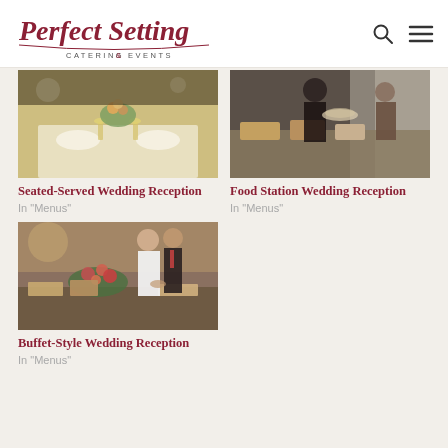Perfect Setting Catering & Events
[Figure (photo): Elegant wedding table setting with gold tableware, champagne glasses and floral centerpiece]
Seated-Served Wedding Reception
In "Menus"
[Figure (photo): Catering staff serving food at a food station wedding reception with guests in background]
Food Station Wedding Reception
In "Menus"
[Figure (photo): Bride and groom serving themselves at a buffet-style wedding reception table with floral arrangements]
Buffet-Style Wedding Reception
In "Menus"